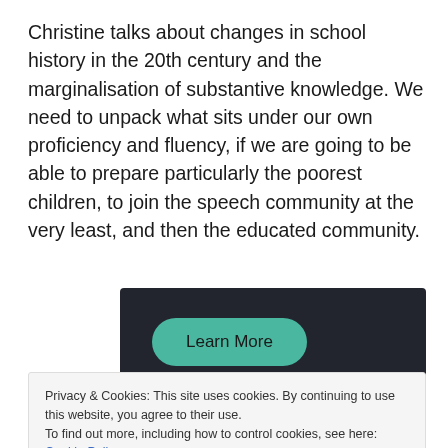Christine talks about changes in school history in the 20th century and the marginalisation of substantive knowledge. We need to unpack what sits under our own proficiency and fluency, if we are going to be able to prepare particularly the poorest children, to join the speech community at the very least, and then the educated community.
[Figure (other): Dark banner with a teal 'Learn More' button]
Privacy & Cookies: This site uses cookies. By continuing to use this website, you agree to their use.
To find out more, including how to control cookies, see here: Cookie Policy